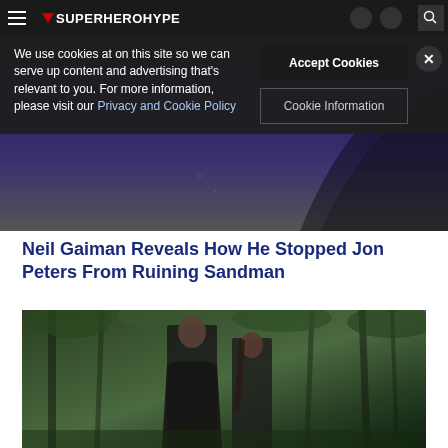SuperHeroHype
We use cookies at on this site so we can serve up content and advertising that's relevant to you. For more information, please visit our Privacy and Cookie Policy
Accept Cookies
Cookie Information
[Figure (photo): Dark hero banner image with purple/dark tones and silhouette figures]
Neil Gaiman Reveals How He Stopped Jon Peters From Ruining Sandman
[Figure (photo): Two people (a bearded man and a woman) walking through a forest, both dressed in dark coats]